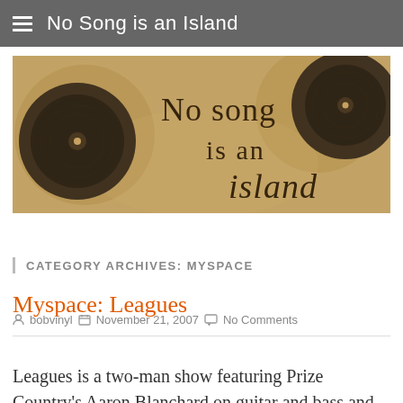No Song is an Island
[Figure (illustration): Blog banner image with aged parchment background, vinyl records on left and right, and handwritten/typeset text reading 'No song is an island']
CATEGORY ARCHIVES: MYSPACE
Myspace: Leagues
bobvinyl  November 21, 2007  No Comments
Leagues is a two-man show featuring Prize Country's Aaron Blanchard on guitar and bass and Andrew